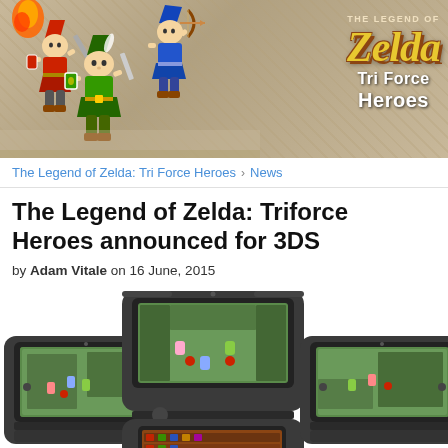[Figure (illustration): Banner image for The Legend of Zelda: Tri Force Heroes showing three cartoon Link characters in different colored outfits wielding swords and bows, with the game logo on the right side featuring 'THE LEGEND OF ZELDA' text above large stylized 'Tri Force Heroes' logo in gold and white on a stone-textured background.]
The Legend of Zelda: Tri Force Heroes › News
The Legend of Zelda: Triforce Heroes announced for 3DS
by Adam Vitale on 16 June, 2015
[Figure (photo): Three Nintendo 3DS handheld consoles showing screens with The Legend of Zelda: Tri Force Heroes gameplay. The center console is positioned higher showing a top-down dungeon view on top screen and a character selection menu on bottom screen. Left and right consoles are positioned lower showing gameplay screens with top-down dungeon environments.]